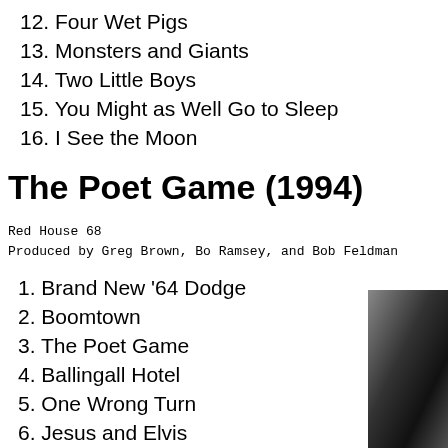12. Four Wet Pigs
13. Monsters and Giants
14. Two Little Boys
15. You Might as Well Go to Sleep
16. I See the Moon
The Poet Game (1994)
Red House 68
Produced by Greg Brown, Bo Ramsey, and Bob Feldman
1. Brand New '64 Dodge
2. Boomtown
3. The Poet Game
4. Ballingall Hotel
5. One Wrong Turn
6. Jesus and Elvis
7. Sadness
8. Lately
9. Lord, I Have Made You a Place in My Heart
10. My New Book
11. Driftless
12. Here in the Going, Going, Gone
[Figure (photo): Black and white photo of a person, partially visible on right edge of page]